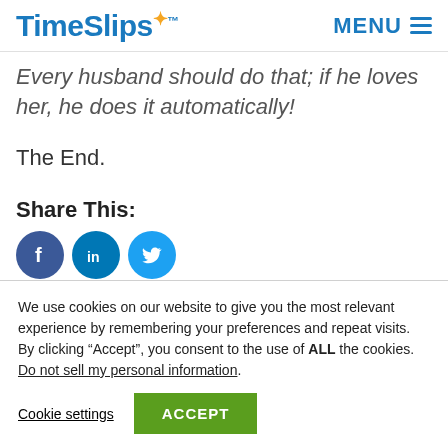TimeSlips | MENU
Every husband should do that; if he loves her, he does it automatically!
The End.
Share This:
[Figure (other): Social media icons: Facebook, LinkedIn, Twitter]
We use cookies on our website to give you the most relevant experience by remembering your preferences and repeat visits. By clicking “Accept”, you consent to the use of ALL the cookies.
Do not sell my personal information.
Cookie settings | ACCEPT